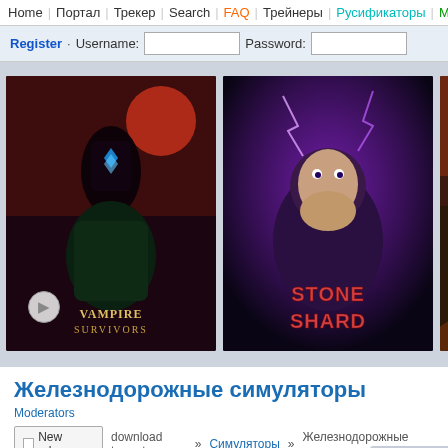Home | Портал | Трекер | Search | FAQ | Трейнеры | Русификаторы | Мод
Register · Username: [input] Password: [input]
[Figure (screenshot): Game covers banner showing Vampire Survivors, Stone Shard, Keplerth, and a partially visible emergency game]
Железнодорожные симуляторы
Moderators
New release   download torrent » Симуляторы » Железнодорожные симулят